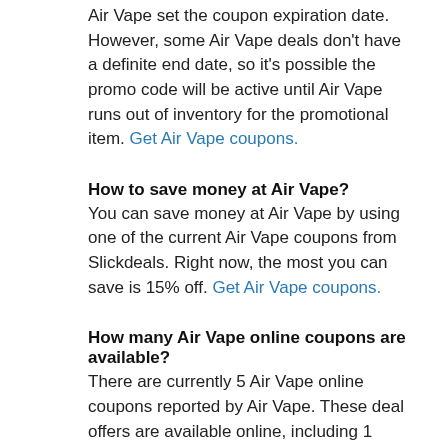Air Vape set the coupon expiration date. However, some Air Vape deals don't have a definite end date, so it's possible the promo code will be active until Air Vape runs out of inventory for the promotional item. Get Air Vape coupons.
How to save money at Air Vape?
You can save money at Air Vape by using one of the current Air Vape coupons from Slickdeals. Right now, the most you can save is 15% off. Get Air Vape coupons.
How many Air Vape online coupons are available?
There are currently 5 Air Vape online coupons reported by Air Vape. These deal offers are available online, including 1 coupon codes. Today alone, users have collectively cashed in on 596 offers. Get Air Vape coupons.
How do I use Air Vape coupons?
To use a Air Vape coupon, copy the related promo code to your clipboard and apply it while checking out. Some Air Vape coupons only apply to specific products, so make sure all the items in your cart qualify before submitting your order. If there's a brick-and-mortar store in your area, you